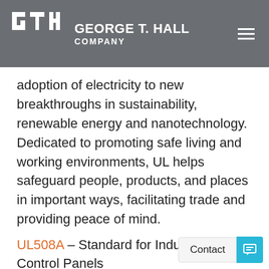GEORGE T. HALL COMPANY
adoption of electricity to new breakthroughs in sustainability, renewable energy and nanotechnology. Dedicated to promoting safe living and working environments, UL helps safeguard people, products, and places in important ways, facilitating trade and providing peace of mind.
UL508A – Standard for Industrial Control Panels
UL698 – Control Panel Program for Hazardous Locations